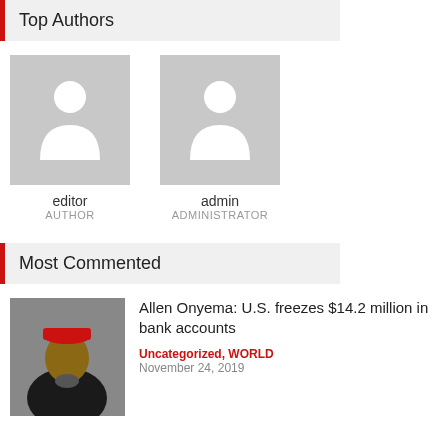Top Authors
[Figure (illustration): Avatar placeholder silhouette for editor (white figure on gray background)]
editor
AUTHOR
[Figure (illustration): Avatar placeholder silhouette for admin (white figure on gray background)]
admin
ADMINISTRATOR
Most Commented
[Figure (photo): Photo of Allen Onyema, a man wearing a red traditional cap and black jacket]
Allen Onyema: U.S. freezes $14.2 million in bank accounts
Uncategorized, WORLD
November 24, 2019